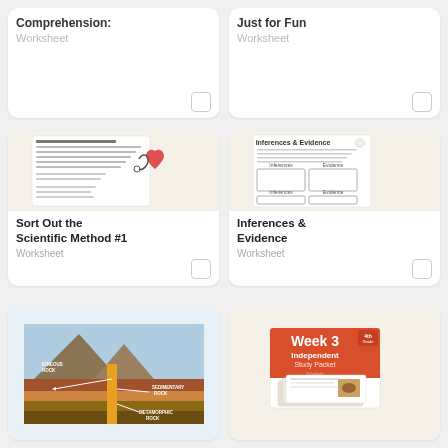[Figure (screenshot): Comprehension worksheet card top-left, no thumbnail visible]
Comprehension:
Worksheet
[Figure (screenshot): Just for Fun worksheet card top-right, no thumbnail visible]
Just for Fun
Worksheet
[Figure (screenshot): Sort Out the Scientific Method #1 worksheet thumbnail]
Sort Out the Scientific Method #1
Worksheet
[Figure (screenshot): Inferences & Evidence worksheet thumbnail]
Inferences & Evidence
Worksheet
[Figure (illustration): Rocks diagram showing igneous, sedimentary, metamorphic rocks with arrows]
[Figure (screenshot): Week 3 4th Grade Independent Study Packet cover with red/orange design]